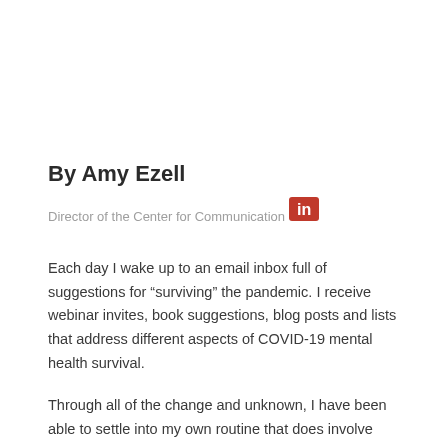By Amy Ezell
Director of the Center for Communication
[Figure (logo): LinkedIn logo icon in red]
Each day I wake up to an email inbox full of suggestions for “surviving” the pandemic. I receive webinar invites, book suggestions, blog posts and lists that address different aspects of COVID-19 mental health survival.
Through all of the change and unknown, I have been able to settle into my own routine that does involve